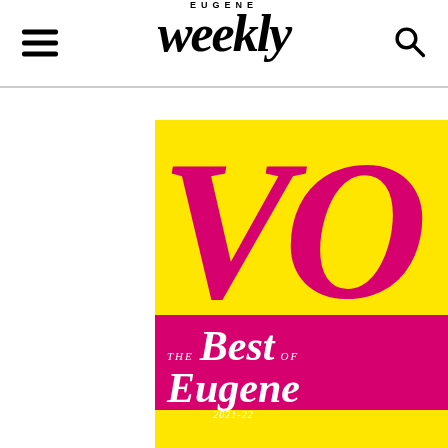Eugene Weekly
[Figure (illustration): Cover image of Eugene Weekly Best of Eugene 2021-22 issue. Top half has yellow background with large magenta italic letters 'VO'. Bottom half has magenta/pink background with white italic text reading 'THE Best OF Eugene 2021-22'. Yellow strip visible at very bottom.]